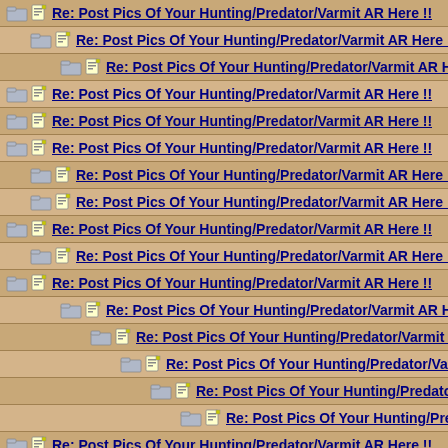Re: Post Pics Of Your Hunting/Predator/Varmit AR Here !!
Re: Post Pics Of Your Hunting/Predator/Varmit AR Here !!
Re: Post Pics Of Your Hunting/Predator/Varmit AR Here !!
Re: Post Pics Of Your Hunting/Predator/Varmit AR Here !!
Re: Post Pics Of Your Hunting/Predator/Varmit AR Here !!
Re: Post Pics Of Your Hunting/Predator/Varmit AR Here !!
Re: Post Pics Of Your Hunting/Predator/Varmit AR Here !!
Re: Post Pics Of Your Hunting/Predator/Varmit AR Here !!
Re: Post Pics Of Your Hunting/Predator/Varmit AR Here !!
Re: Post Pics Of Your Hunting/Predator/Varmit AR Here !!
Re: Post Pics Of Your Hunting/Predator/Varmit AR Here !!
Re: Post Pics Of Your Hunting/Predator/Varmit AR Here !!
Re: Post Pics Of Your Hunting/Predator/Varmit AR Here
Re: Post Pics Of Your Hunting/Predator/Varmit AR He
Re: Post Pics Of Your Hunting/Predator/Varmit AR H
Re: Post Pics Of Your Hunting/Predator/Varmit AR
Re: Post Pics Of Your Hunting/Predator/Varmit AR Here !!
Re: Post Pics Of Your Hunting/Predator/Varmit AR Here !!